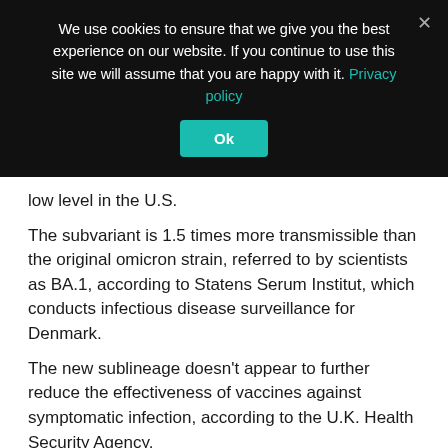We use cookies to ensure that we give you the best experience on our website. If you continue to use this site we will assume that you are happy with it. Privacy policy
low level in the U.S.
The subvariant is 1.5 times more transmissible than the original omicron strain, referred to by scientists as BA.1, according to Statens Serum Institut, which conducts infectious disease surveillance for Denmark.
The new sublineage doesn’t appear to further reduce the effectiveness of vaccines against symptomatic infection, according to the U.K. Health Security Agency.
CNBC Health & Science
“Currently there is no evidence that the BA.2 lineage is more severe than the BA.1 lineage,” CDC spokesperson...